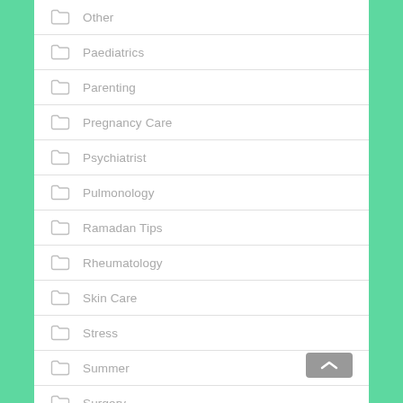Other
Paediatrics
Parenting
Pregnancy Care
Psychiatrist
Pulmonology
Ramadan Tips
Rheumatology
Skin Care
Stress
Summer
Surgery